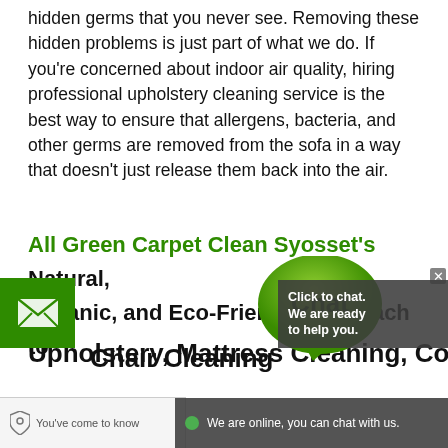hidden germs that you never see. Removing these hidden problems is just part of what we do. If you're concerned about indoor air quality, hiring professional upholstery cleaning service is the best way to ensure that allergens, bacteria, and other germs are removed from the sofa in a way that doesn't just release them back into the air.
All Green Carpet Clean Syosset's Natural, Organic, and Eco-Friendly Approach to Upholstery, Mattress Cleaning, Couch Cleaning, Chair Cleaning
[Figure (screenshot): Chat widget overlay with green chat bubble showing 'Chat', email button on left, and click-to-chat box on right saying 'Click to chat. We are ready to help you.']
You've come to know
We are online, you can chat with us.